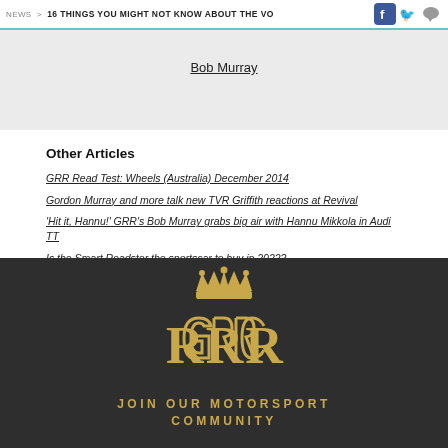NEWS > 16 THINGS YOU MIGHT NOT KNOW ABOUT THE VO
Bob Murray
Other Articles
GRR Read Test: Wheels (Australia) December 2014
Gordon Murray and more talk new TVR Griffith reactions at Revival
'Hit it, Hannu!' GRR's Bob Murray grabs big air with Hannu Mikkola in Audi TT
Is the Smart Roadster the sportscar to buy in 2022?
[Figure (logo): GRRRC monogram logo with crown, gold on dark background]
JOIN OUR MOTORSPORT COMMUNITY